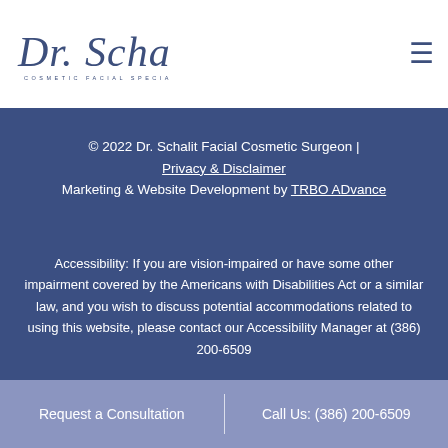[Figure (logo): Dr. Schalit Cosmetic Facial Specialist logo in blue script font]
© 2022 Dr. Schalit Facial Cosmetic Surgeon | Privacy & Disclaimer
Marketing & Website Development by TRBO ADvance
Accessibility: If you are vision-impaired or have some other impairment covered by the Americans with Disabilities Act or a similar law, and you wish to discuss potential accommodations related to using this website, please contact our Accessibility Manager at (386) 200-6509
Request a Consultation | Call Us: (386) 200-6509